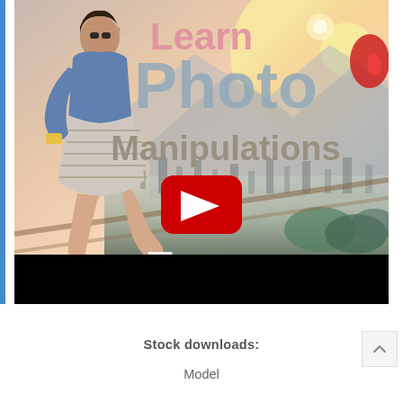[Figure (screenshot): YouTube video thumbnail for 'Learn Photo Manipulations' showing a girl sitting on a rooftop overlooking a city, with a YouTube play button overlay. Text on image reads 'Learn', 'Photo', 'Manipulations'. Black bar at bottom of video player.]
Stock downloads:
Model